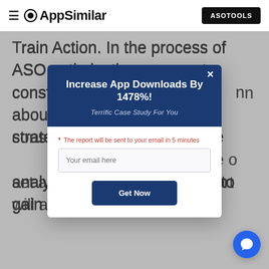AppSimilar — ASOTOOLS
Train Action. In the process of ASO optimization, we must constantly study and research information about and constantly strategies. AppSimilar and more to set an ASO this analysis report will allow you to gain more.
[Figure (screenshot): Modal popup with dark blue header showing 'Increase App Downloads By 1478%!' and subtitle 'Terrific Case Study For You', with an email input field, note about report being sent in 5 minutes, and a 'Get Now' button.]
[Figure (illustration): Blue circular chat/message bubble button in bottom right corner]